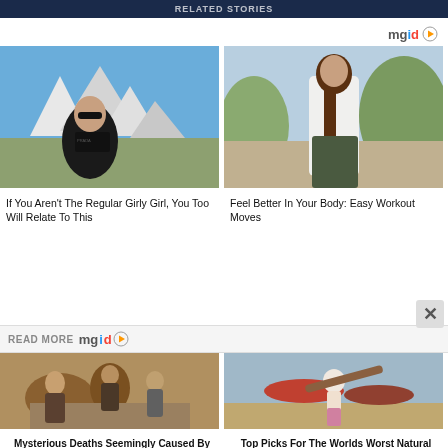RELATED STORIES
[Figure (logo): mgid logo with play button triangle]
[Figure (photo): Woman in black outfit with sunglasses sitting against snowy mountain backdrop]
If You Aren't The Regular Girly Girl, You Too Will Relate To This
[Figure (photo): Woman in white crop top and green pants posing outdoors with trees]
Feel Better In Your Body: Easy Workout Moves
READ MORE
[Figure (logo): mgid logo with play button triangle]
[Figure (photo): Workers handling large sacks or cargo, wearing masks]
Mysterious Deaths Seemingly Caused By Mummy Curses
[Figure (photo): Person carrying a log or pole on a beach with boats in background during storm]
Top Picks For The Worlds Worst Natural Disasters In History